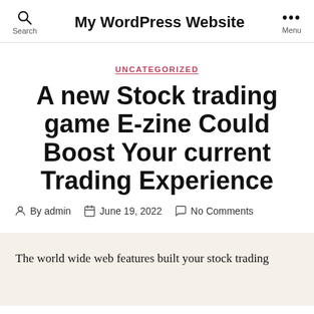My WordPress Website
UNCATEGORIZED
A new Stock trading game E-zine Could Boost Your current Trading Experience
By admin   June 19, 2022   No Comments
The world wide web features built your stock trading